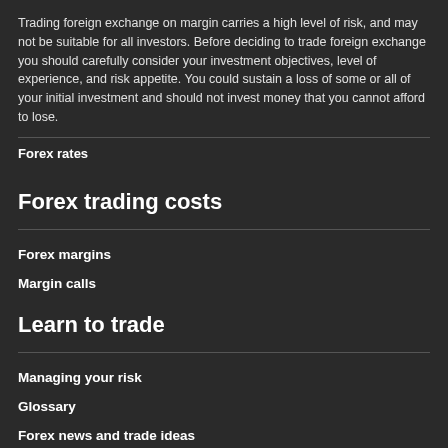Trading foreign exchange on margin carries a high level of risk, and may not be suitable for all investors. Before deciding to trade foreign exchange you should carefully consider your investment objectives, level of experience, and risk appetite. You could sustain a loss of some or all of your initial investment and should not invest money that you cannot afford to lose.
Forex rates
Forex trading costs
Forex margins
Margin calls
Learn to trade
Managing your risk
Glossary
Forex news and trade ideas
Trading strategy